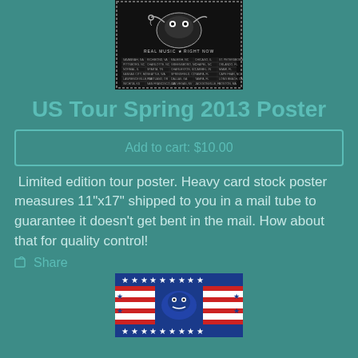[Figure (illustration): Black and white tour poster with band artwork, text 'REAL MUSIC RIGHT NOW' and list of tour dates in small text]
US Tour Spring 2013 Poster
Add to cart: $10.00
Limited edition tour poster. Heavy card stock poster measures 11"x17" shipped to you in a mail tube to guarantee it doesn't get bent in the mail. How about that for quality control!
Share
[Figure (illustration): Patriotic themed poster with stars and stripes border and band artwork]